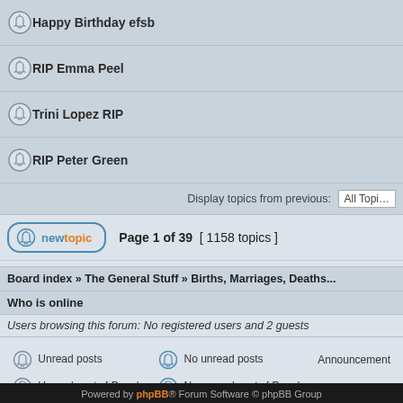Happy Birthday efsb
RIP Emma Peel
Trini Lopez RIP
RIP Peter Green
Display topics from previous: All Topics
Page 1 of 39 [ 1158 topics ]
Board index » The General Stuff » Births, Marriages, Deaths...
Who is online
Users browsing this forum: No registered users and 2 guests
Unread posts | No unread posts | Announcement
Unread posts [ Popular ] | No unread posts [ Popular ] | Sticky
Unread posts [ Locked ] | No unread posts [ Locked ] | Moved topic
Search for: Go
Powered by phpBB® Forum Software © phpBB Group